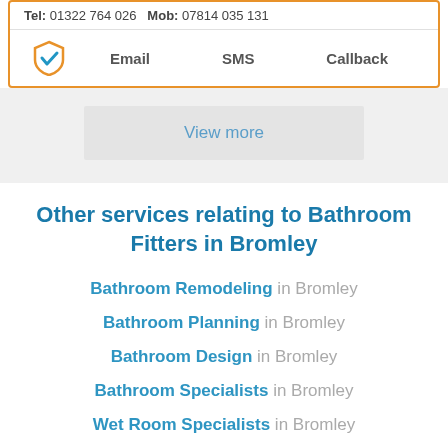Tel: 01322 764 026  Mob: 07814 035 131
[Figure (infographic): Orange shield with blue checkmark icon, followed by Email, SMS, Callback contact options]
View more
Other services relating to Bathroom Fitters in Bromley
Bathroom Remodeling in Bromley
Bathroom Planning in Bromley
Bathroom Design in Bromley
Bathroom Specialists in Bromley
Wet Room Specialists in Bromley